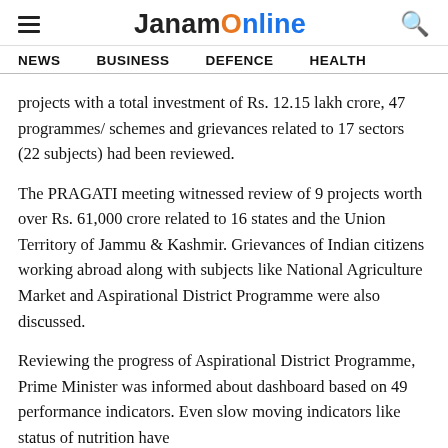JanamOnline
NEWS   BUSINESS   DEFENCE   HEALTH
projects with a total investment of Rs. 12.15 lakh crore, 47 programmes/ schemes and grievances related to 17 sectors (22 subjects) had been reviewed.
The PRAGATI meeting witnessed review of 9 projects worth over Rs. 61,000 crore related to 16 states and the Union Territory of Jammu & Kashmir. Grievances of Indian citizens working abroad along with subjects like National Agriculture Market and Aspirational District Programme were also discussed.
Reviewing the progress of Aspirational District Programme, Prime Minister was informed about dashboard based on 49 performance indicators. Even slow moving indicators like status of nutrition have